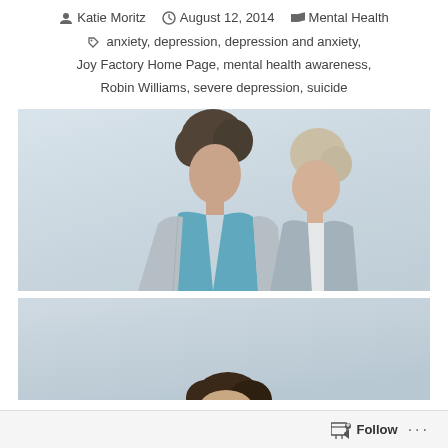Katie Moritz   August 12, 2014   Mental Health
anxiety, depression, depression and anxiety, Joy Factory Home Page, mental health awareness, Robin Williams, severe depression, suicide
[Figure (photo): A man and a woman standing together outdoors against a light sky background; the man has curly dark hair and wears a teal shirt under a grey jacket; the woman has light hair and wears a grey vest]
[Figure (photo): Partial view of another photo showing the top of a person's head with curly hair]
Follow   ...